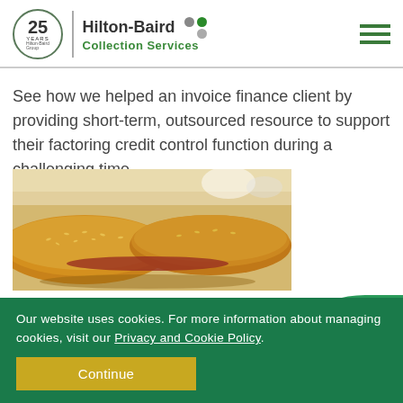[Figure (logo): Hilton-Baird Group 25 years logo and Hilton-Baird Collection Services logo with green and grey dots]
See how we helped an invoice finance client by providing short-term, outsourced resource to support their factoring credit control function during a challenging time.
[Figure (photo): Close-up photo of bread rolls or baguettes with sesame seeds]
Our website uses cookies. For more information about managing cookies, visit our Privacy and Cookie Policy.
Continue